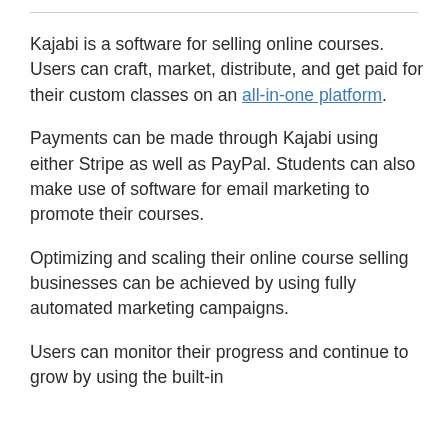Kajabi is a software for selling online courses. Users can craft, market, distribute, and get paid for their custom classes on an all-in-one platform.
Payments can be made through Kajabi using either Stripe as well as PayPal. Students can also make use of software for email marketing to promote their courses.
Optimizing and scaling their online course selling businesses can be achieved by using fully automated marketing campaigns.
Users can monitor their progress and continue to grow by using the built-in...